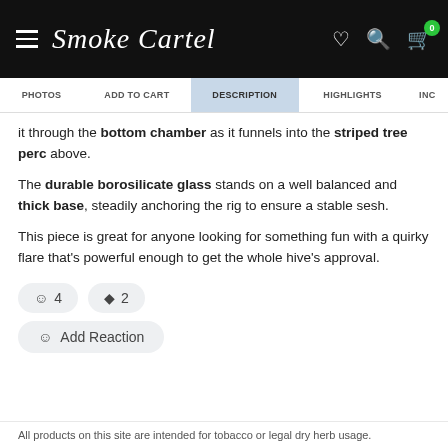Smoke Cartel
PHOTOS | ADD TO CART | DESCRIPTION | HIGHLIGHTS | INC
it through the bottom chamber as it funnels into the striped tree perc above.
The durable borosilicate glass stands on a well balanced and thick base, steadily anchoring the rig to ensure a stable sesh.
This piece is great for anyone looking for something fun with a quirky flare that's powerful enough to get the whole hive's approval.
☺ 4   ⧫ 2   ☺ Add Reaction
All products on this site are intended for tobacco or legal dry herb usage.